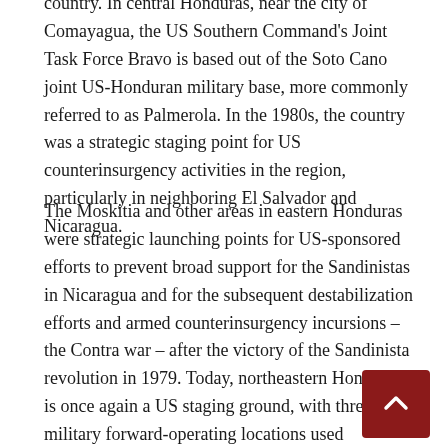country. In central Honduras, near the city of Comayagua, the US Southern Command's Joint Task Force Bravo is based out of the Soto Cano joint US-Honduran military base, more commonly referred to as Palmerola. In the 1980s, the country was a strategic staging point for US counterinsurgency activities in the region, particularly in neighboring El Salvador and Nicaragua.
The Moskitia and other areas in eastern Honduras were strategic launching points for US-sponsored efforts to prevent broad support for the Sandinistas in Nicaragua and for the subsequent destabilization efforts and armed counterinsurgency incursions – the Contra war – after the victory of the Sandinista revolution in 1979. Today, northeastern Honduras is once again a US staging ground, with three US military forward-operating locations used ostensibly for the US-sponsored drug war in the region.